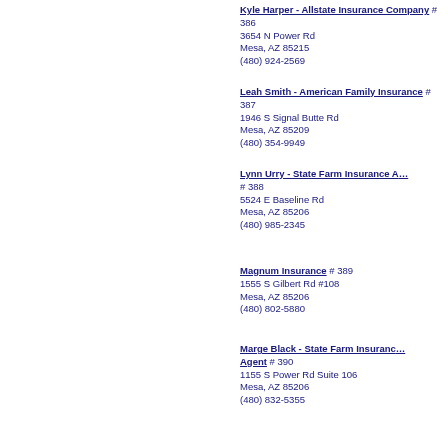Kyle Harper - Allstate Insurance Company  # 386
3654 N Power Rd
Mesa, AZ 85215
(480) 924-2569
Leah Smith - American Family Insurance  # 387
1946 S Signal Butte Rd
Mesa, AZ 85209
(480) 354-9949
Lynn Urry - State Farm Insurance A…  # 388
5524 E Baseline Rd
Mesa, AZ 85206
(480) 985-2345
Magnum Insurance  # 389
1555 S Gilbert Rd #108
Mesa, AZ 85206
(480) 802-5880
Marge Black - State Farm Insurance Agent  # 390
1155 S Power Rd Suite 106
Mesa, AZ 85206
(480) 832-5355